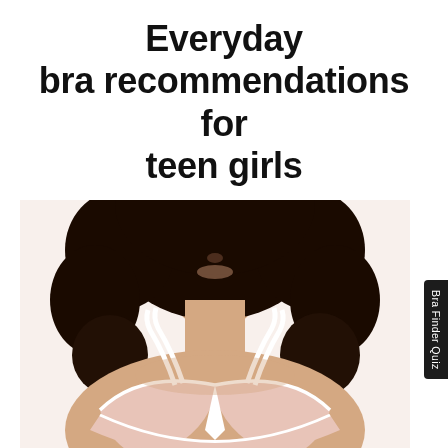Everyday bra recommendations for teen girls
[Figure (photo): A young woman with curly dark hair wearing a light pink wireless bra with white trim straps, photographed from chest up against a white background.]
Bra Finder Quiz